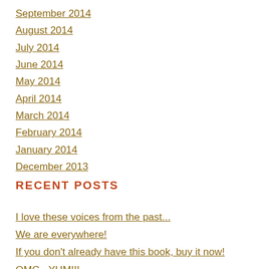September 2014
August 2014
July 2014
June 2014
May 2014
April 2014
March 2014
February 2014
January 2014
December 2013
RECENT POSTS
I love these voices from the past...
We are everywhere!
If you don't already have this book, buy it now!
OMG...YUM!!!
…